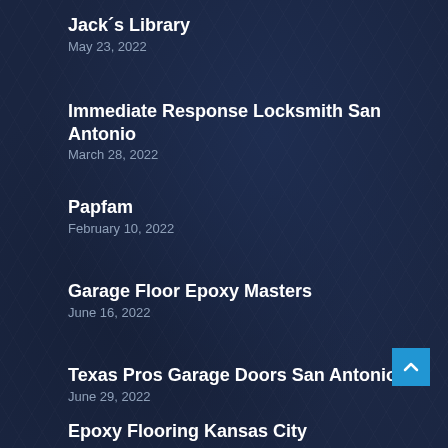Jack´s Library
May 23, 2022
Immediate Response Locksmith San Antonio
March 28, 2022
Papfam
February 10, 2022
Garage Floor Epoxy Masters
June 16, 2022
Texas Pros Garage Doors San Antonio
June 29, 2022
Epoxy Flooring Kansas City